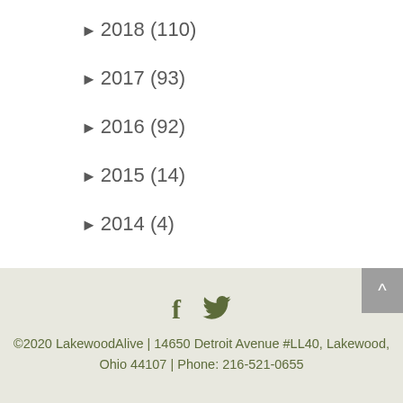► 2018 (110)
► 2017 (93)
► 2016 (92)
► 2015 (14)
► 2014 (4)
©2020 LakewoodAlive | 14650 Detroit Avenue #LL40, Lakewood, Ohio 44107 | Phone: 216-521-0655